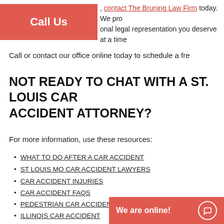contact The Bruning Law Firm today. We provide personal legal representation you deserve at a time
Call Us
Call or contact our office online today to schedule a free
NOT READY TO CHAT WITH A ST. LOUIS CAR ACCIDENT ATTORNEY?
For more information, use these resources:
WHAT TO DO AFTER A CAR ACCIDENT
ST LOUIS MO CAR ACCIDENT LAWYERS
CAR ACCIDENT INJURIES
CAR ACCIDENT FAQS
PEDESTRIAN CAR ACCIDENT LAWYER MO
ILLINOIS CAR ACCIDENT
DISTRACTED D...
ROLLOVER AC...
We are online!